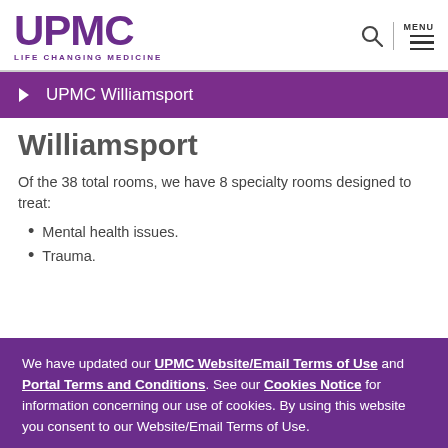UPMC LIFE CHANGING MEDICINE
UPMC Williamsport
Williamsport
Of the 38 total rooms, we have 8 specialty rooms designed to treat:
Mental health issues.
Trauma.
We have updated our UPMC Website/Email Terms of Use and Portal Terms and Conditions. See our Cookies Notice for information concerning our use of cookies. By using this website you consent to our Website/Email Terms of Use.